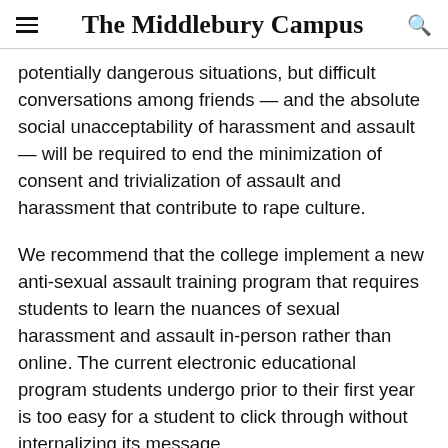The Middlebury Campus
potentially dangerous situations, but difficult conversations among friends — and the absolute social unacceptability of harassment and assault — will be required to end the minimization of consent and trivialization of assault and harassment that contribute to rape culture.
We recommend that the college implement a new anti-sexual assault training program that requires students to learn the nuances of sexual harassment and assault in-person rather than online. The current electronic educational program students undergo prior to their first year is too easy for a student to click through without internalizing its message.
As a more immediate measure, we also think the new